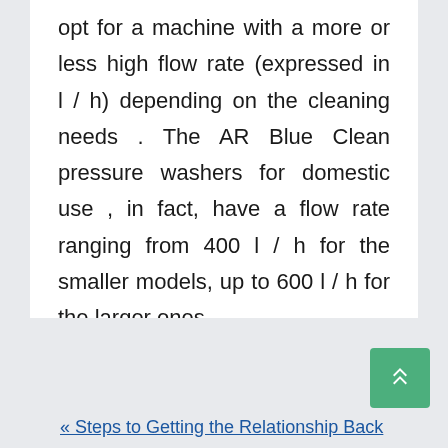opt for a machine with a more or less high flow rate (expressed in l / h) depending on the cleaning needs . The AR Blue Clean pressure washers for domestic use , in fact, have a flow rate ranging from 400 l / h for the smaller models, up to 600 l / h for the larger ones.
« Steps to Getting the Relationship Back